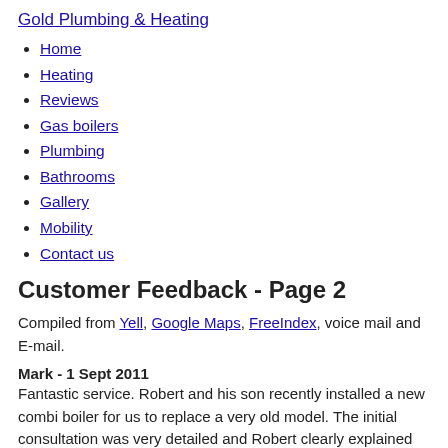Gold Plumbing & Heating
Home
Heating
Reviews
Gas boilers
Plumbing
Bathrooms
Gallery
Mobility
Contact us
Customer Feedback - Page 2
Compiled from Yell, Google Maps, FreeIndex, voice mail and E-mail.
Mark - 1 Sept 2011
Fantastic service. Robert and his son recently installed a new combi boiler for us to replace a very old model. The initial consultation was very detailed and Robert clearly explained everything even though I probably drove him mad with questions! The day of the installation went like clockwork with Robert even